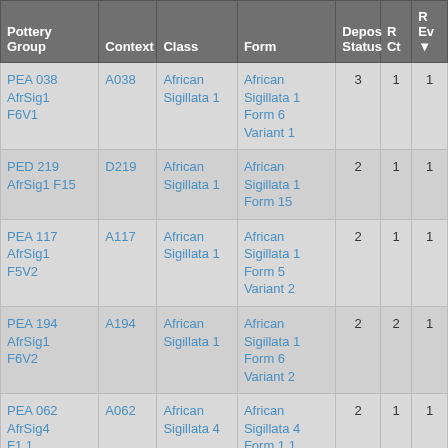| Pottery Group | Context | Class | Form | Depos Status | R Ct | R Ev |
| --- | --- | --- | --- | --- | --- | --- |
| PEA 038 AfrSig1 F6V1 | A038 | African Sigillata 1 | African Sigillata 1 Form 6 Variant 1 | 3 | 1 | 1 |
| PED 219 AfrSig1 F15 | D219 | African Sigillata 1 | African Sigillata 1 Form 15 | 2 | 1 | 1 |
| PEA 117 AfrSig1 F5V2 | A117 | African Sigillata 1 | African Sigillata 1 Form 5 Variant 2 | 2 | 1 | 1 |
| PEA 194 AfrSig1 F6V2 | A194 | African Sigillata 1 | African Sigillata 1 Form 6 Variant 2 | 2 | 2 | 1 |
| PEA 062 AfrSig4 F1.1 | A062 | African Sigillata 4 | African Sigillata 4 Form 1.1 | 2 | 1 | 1 |
| PEA 067 |  | African | African |  |  |  |